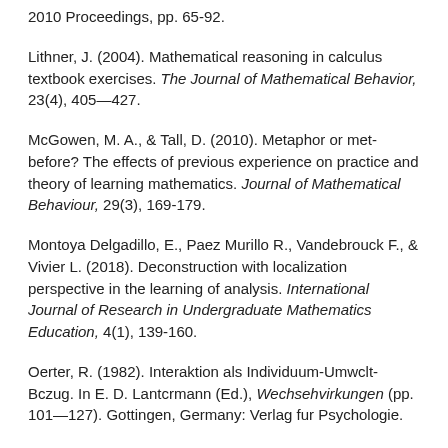2010 Proceedings, pp. 65-92.
Lithner, J. (2004). Mathematical reasoning in calculus textbook exercises. The Journal of Mathematical Behavior, 23(4), 405—427.
McGowen, M. A., & Tall, D. (2010). Metaphor or met-before? The effects of previous experience on practice and theory of learning mathematics. Journal of Mathematical Behaviour, 29(3), 169-179.
Montoya Delgadillo, E., Paez Murillo R., Vandebrouck F., & Vivier L. (2018). Deconstruction with localization perspective in the learning of analysis. International Journal of Research in Undergraduate Mathematics Education, 4(1), 139-160.
Oerter, R. (1982). Interaktion als Individuum-Umwclt-Bczug. In E. D. Lantcrmann (Ed.), Wechsehvirkungen (pp. 101—127). Gottingen, Germany: Verlag fur Psychologie.
Pâez Murillo, R. E., Montoya Delgadillo, E., & Vivier L.